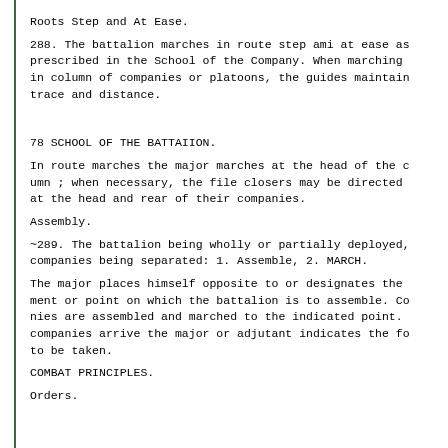Roots Step and At Ease.
288. The battalion marches in route step ami at ease as prescribed in the School of the Company. When marching in column of companies or platoons, the guides maintain trace and distance.
78 SCHOOL OF THE BATTAIION.
In route marches the major marches at the head of the column ; when necessary, the file closers may be directed at the head and rear of their companies.
Assembly.
~289. The battalion being wholly or partially deployed, companies being separated: 1. Assemble, 2. MARCH.
The major places himself opposite to or designates the ment or point on which the battalion is to assemble. Companies are assembled and marched to the indicated point. companies arrive the major or adjutant indicates the fo to be taken.
COMBAT PRINCIPLES.
Orders.